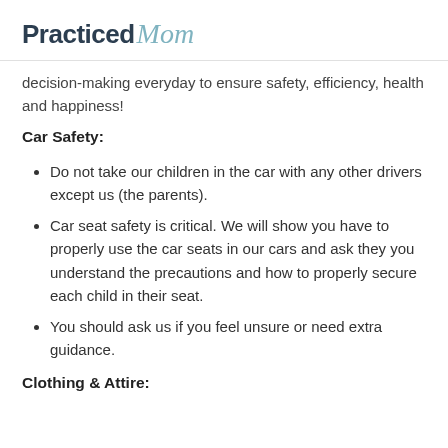Practiced Mom
decision-making everyday to ensure safety, efficiency, health and happiness!
Car Safety:
Do not take our children in the car with any other drivers except us (the parents).
Car seat safety is critical. We will show you have to properly use the car seats in our cars and ask they you understand the precautions and how to properly secure each child in their seat.
You should ask us if you feel unsure or need extra guidance.
Clothing & Attire: